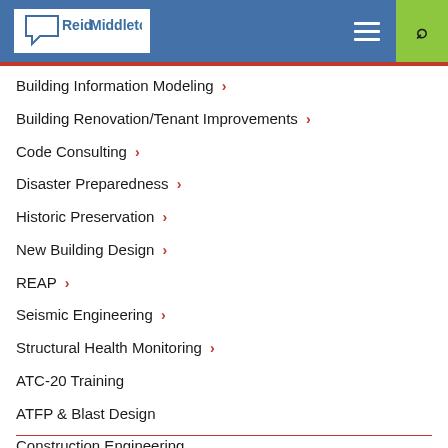[Figure (logo): Reid Middleton company logo in white box within blue header bar]
Building Information Modeling >
Building Renovation/Tenant Improvements >
Code Consulting >
Disaster Preparedness >
Historic Preservation >
New Building Design >
REAP >
Seismic Engineering >
Structural Health Monitoring >
ATC-20 Training
ATFP & Blast Design
Construction Engineering
Feasibility Studies
Performance-Based Design
Structural Evaluation & Repair